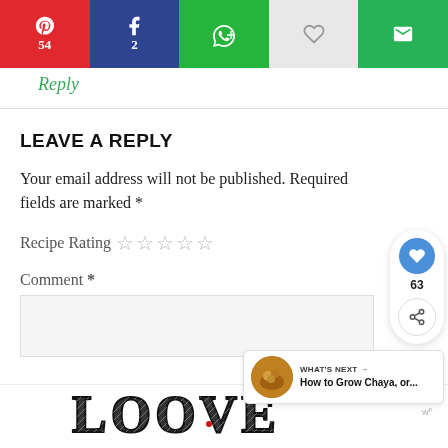[Figure (screenshot): Social share bar with Pinterest (54), Facebook (2), WhatsApp, heart/like, and email buttons]
Reply
LEAVE A REPLY
Your email address will not be published. Required fields are marked *
Recipe Rating ☆☆☆☆☆
Comment *
[Figure (screenshot): Floating like button showing heart icon with count 63 and share icon]
[Figure (screenshot): What's Next panel showing How to Grow Chaya, or...]
[Figure (screenshot): Advertisement bar at bottom showing LOVE text art graphic with close buttons]